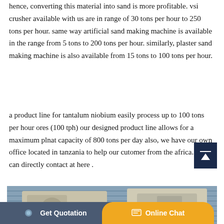hence, converting this material into sand is more profitable. vsi crusher available with us are in range of 30 tons per hour to 250 tons per hour. same way artificial sand making machine is available in the range from 5 tons to 200 tons per hour. similarly, plaster sand making machine is also available from 15 tons to 100 tons per hour.
a product line for tantalum niobium easily process up to 100 tons per hour ores (100 tph) our designed product line allows for a maximum plnat capacity of 800 tons per day also, we have our own office located in tanzania to help our cutomer from the africa. you can directly contact at here .
[Figure (photo): Photograph of industrial sand making or crushing machine equipment, beige/cream colored machinery against a corrugated metal roof background]
Get Quotation | Online Chat